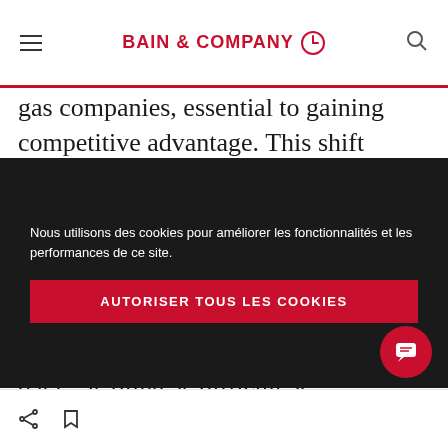BAIN & COMPANY
gas companies, essential to gaining competitive advantage. This shift requires new modes of thinking: Changes to the operating model and culture are the hardest parts of a digital transformation. For example, getting teams to embed analytics into their decision making—the demand side of data—is often as difficult as
Nous utilisons des cookies pour améliorer les fonctionnalités et les performances de ce site.
AUTORISER TOUS LES COOKIES